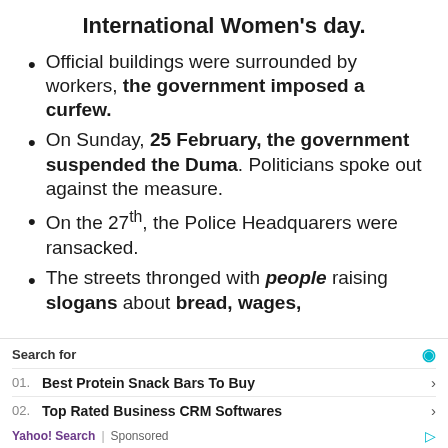International Women's day.
Official buildings were surrounded by workers, the government imposed a curfew.
On Sunday, 25 February, the government suspended the Duma. Politicians spoke out against the measure.
On the 27th, the Police Headquarers were ransacked.
The streets thronged with people raising slogans about bread, wages,
Search for | 01. Best Protein Snack Bars To Buy | 02. Top Rated Business CRM Softwares | Yahoo! Search | Sponsored